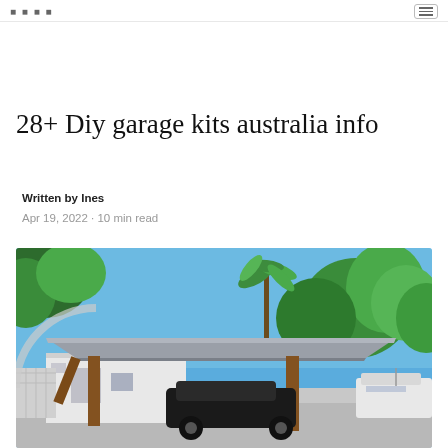Written by Ines · Menu
28+ Diy garage kits australia info
Written by Ines
Apr 19, 2022 · 10 min read
[Figure (photo): A modern open carport structure with a flat grey roof supported by wooden posts, with palm trees and blue sky in the background, and cars parked underneath. A white house and a boat are visible to the right.]